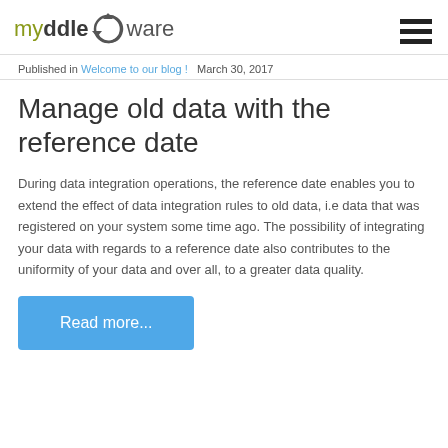myddle ware
Published in Welcome to our blog ! March 30, 2017
Manage old data with the reference date
During data integration operations, the reference date enables you to extend the effect of data integration rules to old data, i.e data that was registered on your system some time ago. The possibility of integrating your data with regards to a reference date also contributes to the uniformity of your data and over all, to a greater data quality.
Read more...